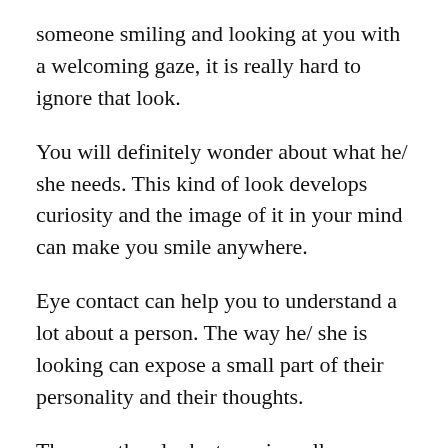someone smiling and looking at you with a welcoming gaze, it is really hard to ignore that look.
You will definitely wonder about what he/ she needs. This kind of look develops curiosity and the image of it in your mind can make you smile anywhere.
Eye contact can help you to understand a lot about a person. The way he/ she is looking can expose a small part of their personality and their thoughts.
The way they look at you is really important